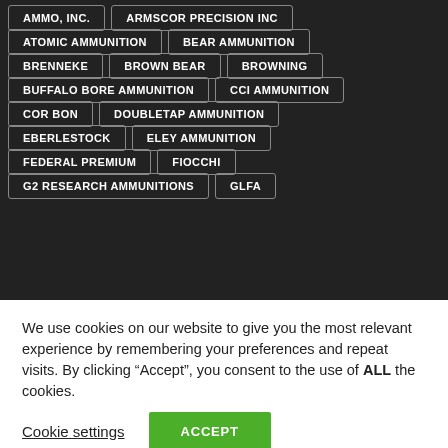AMMO, INC.
ARMSCOR PRECISION INC
ATOMIC AMMUNITION
BEAR AMMUNITION
BRENNEKE
BROWN BEAR
BROWNING
BUFFALO BORE AMMUNITION
CCI AMMUNITION
COR BON
DOUBLETAP AMMUNITION
EBERLESTOCK
ELEY AMMUNITION
FEDERAL PREMIUM
FIOCCHI
G2 RESEARCH AMMUNITIONS
GLFA
We use cookies on our website to give you the most relevant experience by remembering your preferences and repeat visits. By clicking “Accept”, you consent to the use of ALL the cookies.
Cookie settings
ACCEPT